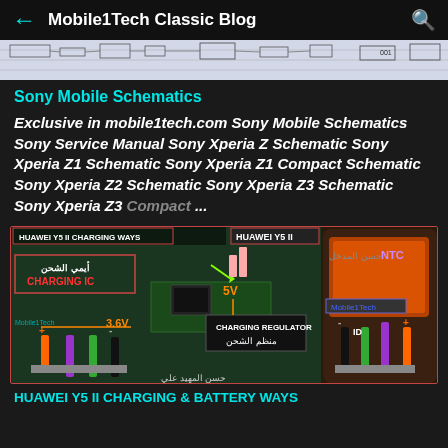Mobile1Tech Classic Blog
[Figure (schematic): Partial view of a mobile schematic diagram]
Sony Mobile Schematics
Exclusive in mobile1tech.com Sony Mobile Schematics Sony Service Manual Sony Xperia Z Schematic Sony Xperia Z1 Schematic Sony Xperia Z1 Compact Schematic Sony Xperia Z2 Schematic Sony Xperia Z3 Schematic Sony Xperia Z3 Compact ...
[Figure (schematic): HUAWEI Y5 II CHARGING WAYS - circuit board photo with labeled charging IC, NTC, charging regulator, voltage points 5V and 3.6V, and battery connection points with +/- and ID labels. Mobile1Tech watermark.]
HUAWEI Y5 II CHARGING & BATTERY WAYS